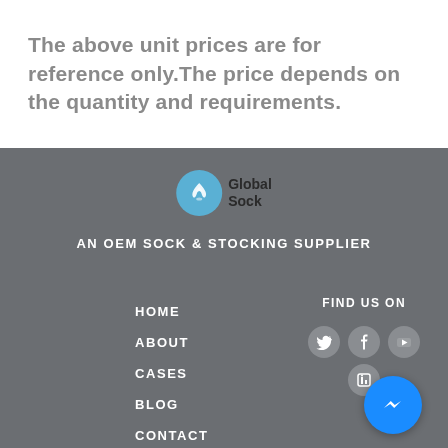The above unit prices are for reference only.The price depends on the quantity and requirements.
[Figure (logo): Global Sock logo with blue circle containing a lotus flower icon and text 'Global Sock']
AN OEM SOCK & STOCKING SUPPLIER
HOME
ABOUT
CASES
BLOG
CONTACT
FIND US ON
[Figure (infographic): Social media icons: Twitter, Facebook, YouTube, LinkedIn buttons and a Messenger floating button]